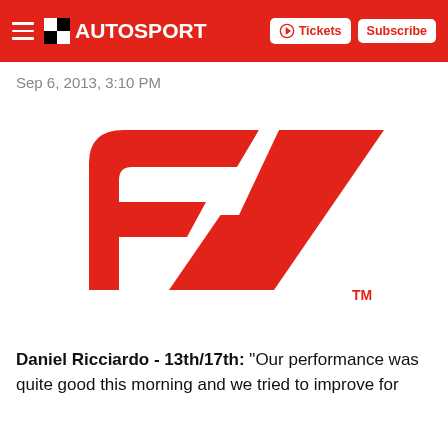AUTOSPORT — Tickets | Subscribe
Sep 6, 2013, 3:10 PM
[Figure (logo): Formula 1 (F1) red logo with TM mark]
Daniel Ricciardo - 13th/17th: "Our performance was quite good this morning and we tried to improve for